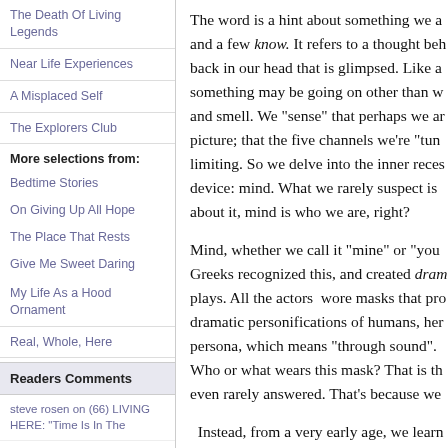The Death Of Living Legends
Near Life Experiences
A Misplaced Self
The Explorers Club
More selections from:
Bedtime Stories
On Giving Up All Hope
The Place That Rests
Give Me Sweet Daring
My Life As a Hood Ornament
Real, Whole, Here
Readers Comments
steve rosen on (66) LIVING HERE: “Time Is In The
The word is a hint about something we a and a few know. It refers to a thought beh back in our head that is glimpsed. Like a something may be going on other than w and smell. We “sense” that perhaps we ar picture; that the five channels we’re “tun limiting. So we delve into the inner reces device: mind. What we rarely suspect is about it, mind is who we are, right?
Mind, whether we call it “mine” or “you Greeks recognized this, and created dram plays. All the actors wore masks that pro dramatic personifications of humans, her persona, which means “through sound”. Who or what wears this mask? That is th even rarely answered. That’s because we
Instead, from a very early age, we learn